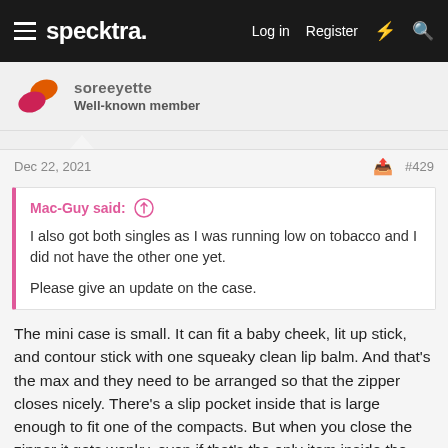specktra. — Log in  Register
Well-known member
Dec 22, 2021  #429
Mac-Guy said: ↑

I also got both singles as I was running low on tobacco and I did not have the other one yet.

Please give an update on the case.
The mini case is small. It can fit a baby cheek, lit up stick, and contour stick with one squeaky clean lip balm. And that's the max and they need to be arranged so that the zipper closes nicely. There's a slip pocket inside that is large enough to fit one of the compacts. But when you close the zipper it gets wonky, even if that's the only item inside the bag. It's well made, the zipper is smooth, and the canvas feels coated. It could definitely be used for other things, my phone could not fit but it could be used to hold keys, cash and cards to run quick errands. It's a